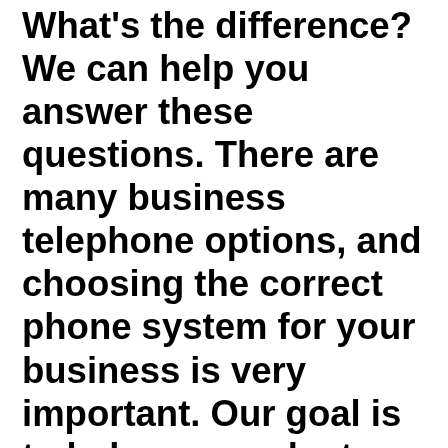What's the difference? We can help you answer these questions. There are many business telephone options, and choosing the correct phone system for your business is very important. Our goal is to help you evaluate your office phone system requirements and provide affordable business phone